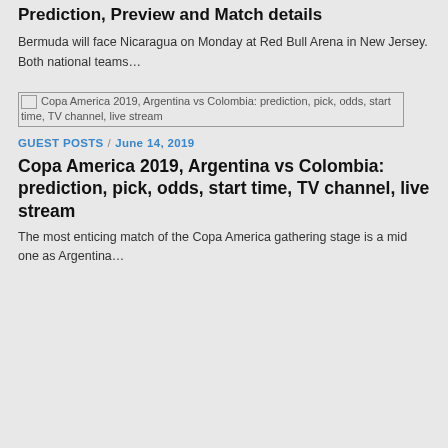Prediction, Preview and Match details
Bermuda will face Nicaragua on Monday at Red Bull Arena in New Jersey. Both national teams…
[Figure (photo): Copa America 2019, Argentina vs Colombia: prediction, pick, odds, start time, TV channel, live stream]
GUEST POSTS / June 14, 2019
Copa America 2019, Argentina vs Colombia: prediction, pick, odds, start time, TV channel, live stream
The most enticing match of the Copa America gathering stage is a mid one as Argentina…